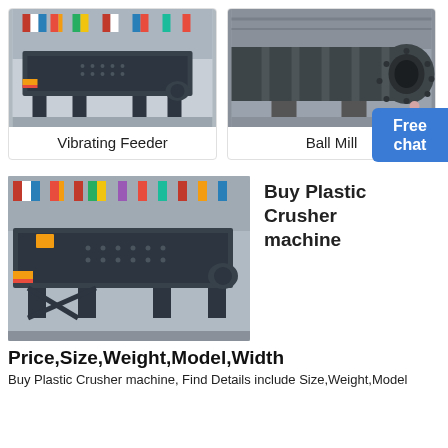[Figure (photo): Vibrating Feeder machine in industrial warehouse setting with international flags visible in background]
Vibrating Feeder
[Figure (photo): Ball Mill - large cylindrical industrial grinding machine in dark gray color]
Ball Mill
[Figure (photo): Plastic Crusher machine / Vibrating Feeder in industrial setting with flags, same as top-left image]
Buy Plastic Crusher machine
Price,Size,Weight,Model,Width
Buy Plastic Crusher machine, Find Details include Size,Weight,Model